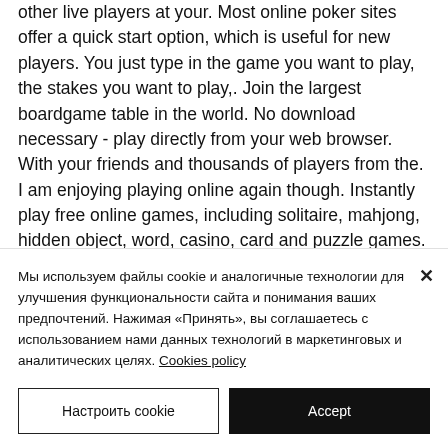other live players at your. Most online poker sites offer a quick start option, which is useful for new players. You just type in the game you want to play, the stakes you want to play,. Join the largest boardgame table in the world. No download necessary - play directly from your web browser. With your friends and thousands of players from the. I am enjoying playing online again though. Instantly play free online games, including solitaire, mahjong, hidden object, word, casino, card and puzzle games. Play on your computer, tablet or phone. Play with a
Мы используем файлы cookie и аналогичные технологии для улучшения функциональности сайта и понимания ваших предпочтений. Нажимая «Принять», вы соглашаетесь с использованием нами данных технологий в маркетинговых и аналитических целях. Cookies policy
Настроить cookie
Accept